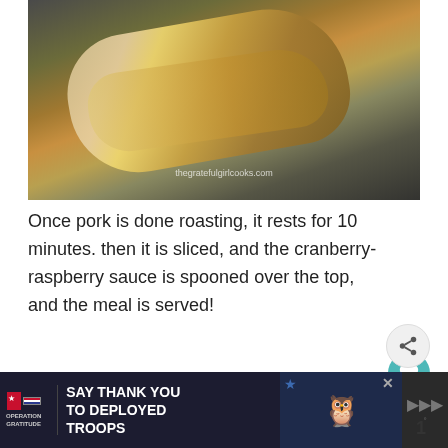[Figure (photo): Pork loin roasting in a pan with golden butter and spices, viewed close up. Watermark: thegratefulgirlcooks.com]
Once pork is done roasting, it rests for 10 minutes. then it is sliced, and the cranberry-raspberry sauce is spooned over the top, and the meal is served!
[Figure (photo): Sliced pork loin topped with dark cranberry-raspberry sauce and garnished with a green herb leaf, served on a plate.]
[Figure (infographic): Ad banner: Operation Gratitude – SAY THANK YOU TO DEPLOYED TROOPS, with an owl mascot and star decorations. Close button X visible.]